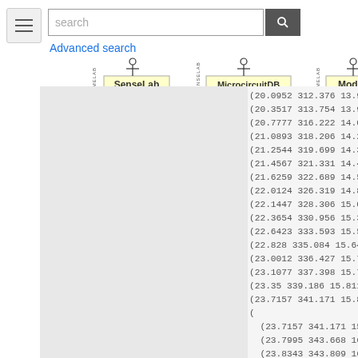search | Advanced search
[Figure (logo): SenseLab logo with figure icon]
[Figure (logo): MicrocircuitDB logo with figure icon]
[Figure (logo): ModelDB logo with figure icon]
(20.0952 312.376 13.9
(20.3517 313.754 13.9
(20.7777 316.222 14.0
(21.0893 318.206 14.2
(21.2544 319.699 14.3
(21.4567 321.331 14.4
(21.6259 322.689 14.5
(22.0124 326.319 14.8
(22.1447 328.306 15.0
(22.3654 330.956 15.3
(22.6423 333.593 15.5
(22.828 335.084 15.64
(23.0012 336.427 15.7
(23.1077 337.398 15.7
(23.35 339.186 15.811
(23.7157 341.171 15.8
(
    (23.7157 341.171 15
    (23.7995 343.668 16
    (23.8343 343.809 16